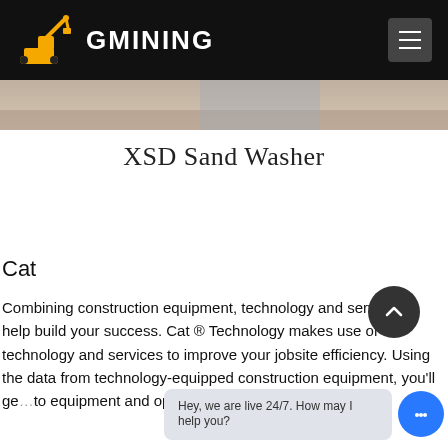GMINING
[Figure (photo): Partial view of a sand washer or construction equipment in a field setting, hero/banner image strip]
XSD Sand Washer
Cat
Combining construction equipment, technology and services to help build your success. Cat ® Technology makes use of technology and services to improve your jobsite efficiency. Using the data from technology-equipped construction equipment, you'll ge...to equipment and operations than ever before.